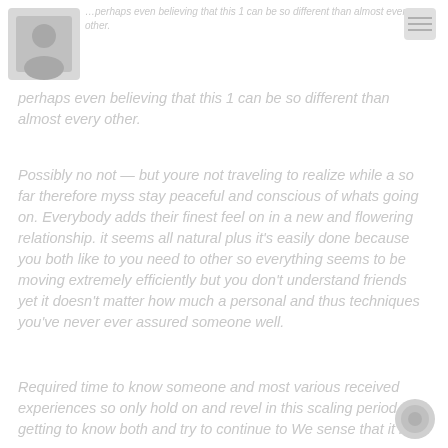[Figure (logo): Small square logo/avatar image in top left corner]
perhaps even believing that this 1 can be so different than almost every other.
Possibly no not — but youre not traveling to realize while a so far therefore myss stay peaceful and conscious of whats going on. Everybody adds their finest feel on in a new and flowering relationship. it seems all natural plus it's easily done because you both like to you need to other so everything seems to be moving extremely efficiently but you don't understand friends yet it doesn't matter how much a personal and thus techniques you've never ever assured someone well.
Required time to know someone and most various received experiences so only hold on and revel in this scaling period of getting to know both and try to continue to We sense that it is a